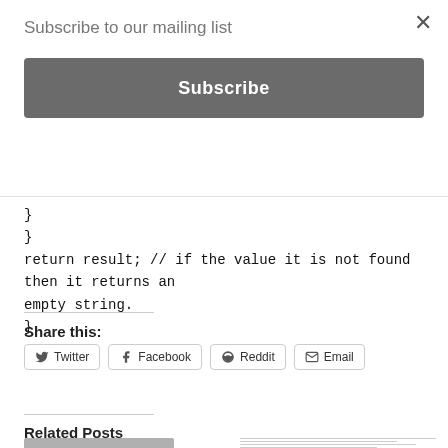Subscribe to our mailing list
Subscribe
}
}
return result; // if the value it is not found then it returns an empty string.
}
Share this:
Twitter Facebook Reddit Email
Related Posts